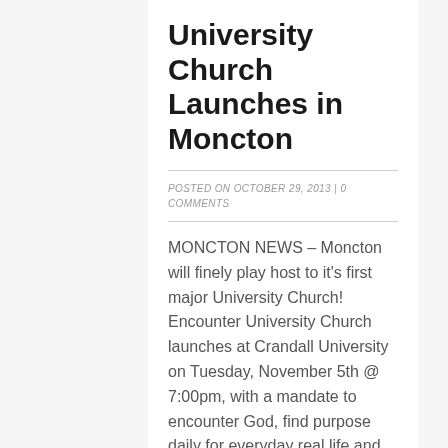University Church Launches in Moncton
POSTED ON OCTOBER 29, 2013 | 0 COMMENTS
MONCTON NEWS – Moncton will finely play host to it's first major University Church! Encounter University Church launches at Crandall University on Tuesday, November 5th @ 7:00pm, with a mandate to encounter God, find purpose daily for everyday real life and live intentionally. Live Worship will be featured every Tuesday night, lead by Canadian Worship